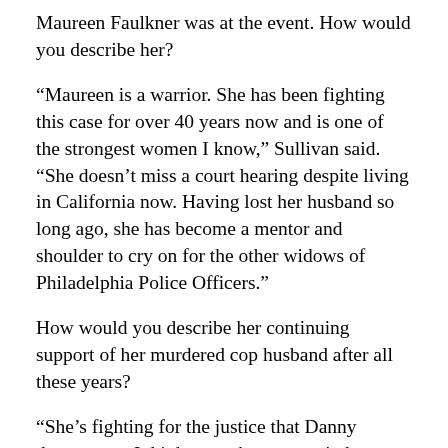Maureen Faulkner was at the event. How would you describe her?
“Maureen is a warrior. She has been fighting this case for over 40 years now and is one of the strongest women I know,” Sullivan said. “She doesn’t miss a court hearing despite living in California now. Having lost her husband so long ago, she has become a mentor and shoulder to cry on for the other widows of Philadelphia Police Officers.”
How would you describe her continuing support of her murdered cop husband after all these years?
“She’s fighting for the justice that Danny deserves, as I think any other person in her position would. The next words begin on the next page of M…